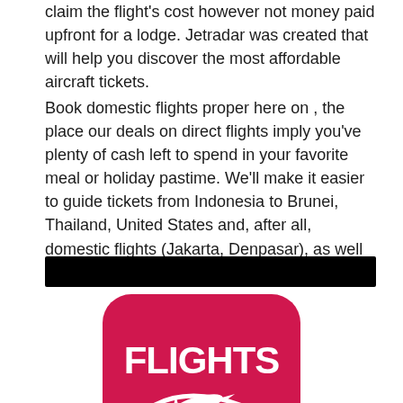claim the flight's cost however not money paid upfront for a lodge. Jetradar was created that will help you discover the most affordable aircraft tickets.
Book domestic flights proper here on , the place our deals on direct flights imply you've plenty of cash left to spend in your favorite meal or holiday pastime. We'll make it easier to guide tickets from Indonesia to Brunei, Thailand, United States and, after all, domestic flights (Jakarta, Denpasar), as well as a large number of other locations.
[Figure (other): Black redacted bar]
[Figure (logo): Red rounded square logo with white bold text reading FLIGHTS TO and a white airplane icon with a swoosh arc]